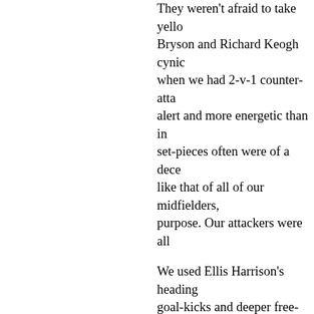They weren't afraid to take yello... Bryson and Richard Keogh cynic... when we had 2-v-1 counter-atta... alert and more energetic than in... set-pieces often were of a dece... like that of all of our midfielders,... purpose. Our attackers were all...
We used Ellis Harrison's heading... goal-kicks and deeper free-kicks... Garner last season. Everybody h... in post-match thoughts because... attackers and central midfielders... support him. He would be twice... mates could get 10 yards further...
If Harrison was struggling with h... this game even more problemati... knock early on which he ran off,... like dictating the tempo although... Knudsen. A couple of weak shot... threat and my friend's comment... up physically struck a chord with...